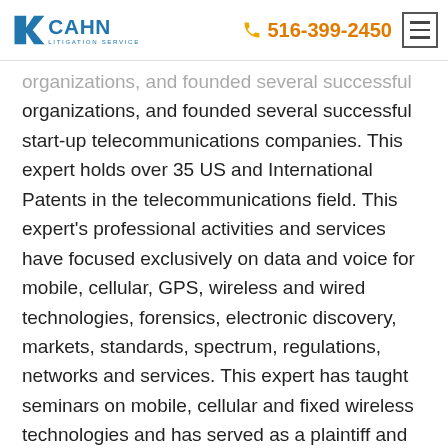CAHN LITIGATION SERVICES | 516-399-2450
organizations, and founded several successful start-up telecommunications companies. This expert holds over 35 US and International Patents in the telecommunications field. This expert's professional activities and services have focused exclusively on data and voice for mobile, cellular, GPS, wireless and wired technologies, forensics, electronic discovery, markets, standards, spectrum, regulations, networks and services. This expert has taught seminars on mobile, cellular and fixed wireless technologies and has served as a plaintiff and defendant expert witness on a wide spectrum of civil, criminal and business matters/litigation involving